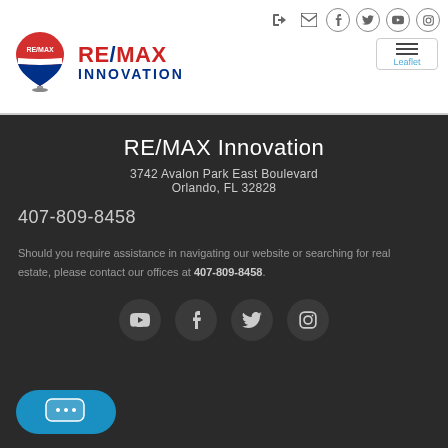RE/MAX Innovation header with logo and navigation icons
RE/MAX Innovation
3742 Avalon Park East Boulevard
Orlando, FL 32828
407-809-8458
Should you require assistance in navigating our website or searching for real estate, please contact our offices at 407-809-8458.
[Figure (other): Social media icon buttons: YouTube, Facebook, Twitter, Instagram in dark circles]
[Figure (other): Chat button in blue rounded rectangle with speech bubble dots icon]